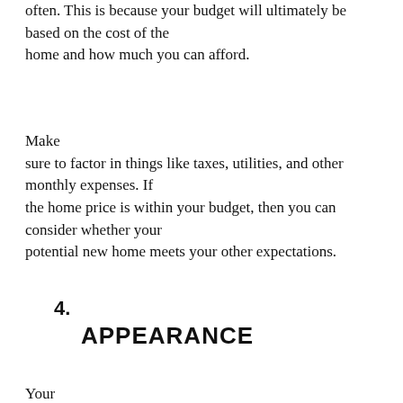often. This is because your budget will ultimately be based on the cost of the home and how much you can afford.
Make sure to factor in things like taxes, utilities, and other monthly expenses. If the home price is within your budget, then you can consider whether your potential new home meets your other expectations.
4. APPEARANCE
Your